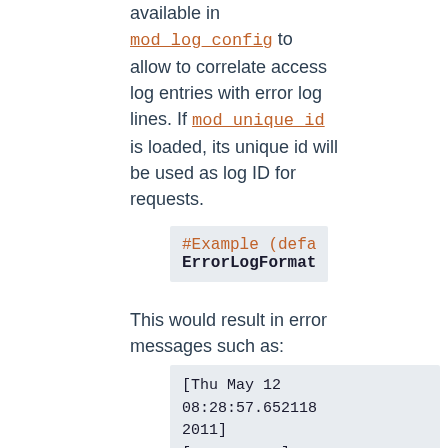available in mod_log_config to allow to correlate access log entries with error log lines. If mod_unique_id is loaded, its unique id will be used as log ID for requests.
#Example (defa
ErrorLogFormat
This would result in error messages such as:
[Thu May 12 08:28:57.652118 2011] [core:error] [pid 8777:tid 4326490112] [client ::1:58619] File does not exist: /usr/local/apache2/htdocs/favicon.ico